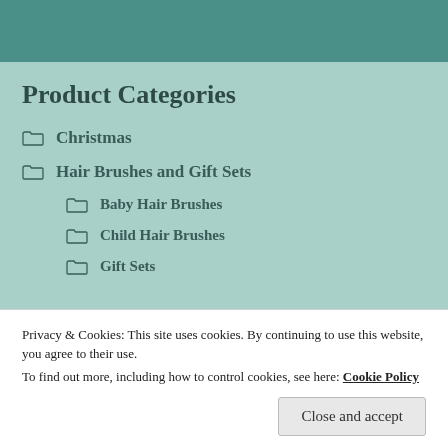Product Categories
Christmas
Hair Brushes and Gift Sets
Baby Hair Brushes
Child Hair Brushes
Gift Sets
Privacy & Cookies: This site uses cookies. By continuing to use this website, you agree to their use.
To find out more, including how to control cookies, see here: Cookie Policy